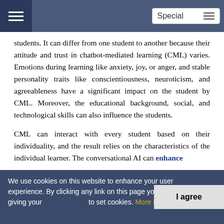Special
students. It can differ from one student to another because their attitude and trust in chatbot-mediated learning (CML) varies. Emotions during learning like anxiety, joy, or anger, and stable personality traits like conscientiousness, neuroticism, and agreeableness have a significant impact on the student by CML. Moreover, the educational background, social, and technological skills can also influence the students.
CML can interact with every student based on their individuality, and the result relies on the characteristics of the individual learner. The conversational AI can enhance
We use cookies on this website to enhance your user experience. By clicking any link on this page you are giving your consent to set cookies. More info